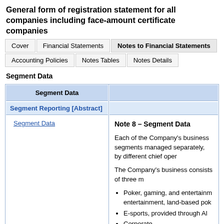General form of registration statement for all companies including face-amount certificate companies
Cover | Financial Statements | Notes to Financial Statements
Accounting Policies | Notes Tables | Notes Details
Segment Data
| Segment Data |  |
| --- | --- |
| Segment Reporting [Abstract] |  |
| Segment Data | Note 8 – Segment Data

Each of the Company's business segments managed separately, by different chief oper...

The Company's business consists of three m...
• Poker, gaming, and entertainment, land-based pok...
• E-sports, provided through Al...
• Corporate.

The following tables present segment infor... and as of March 31, 2020 and December 31... |